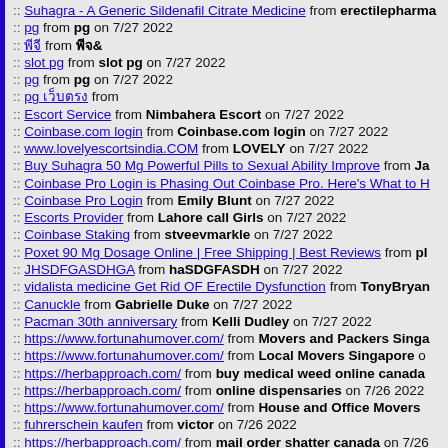Suhagra - A Generic Sildenafil Citrate Medicine from erectilepharma
pg from pg on 7/27 2022
&#3614;&#3637;&#3592;&#3637; from &#3614;&#3637;&#3592;&#3637;
slot pg from slot pg on 7/27 2022
pg from pg on 7/27 2022
pg &#3648;&#3623;&#3655;&#3610;&#3605;&#3619;&#3591; from
Escort Service from Nimbahera Escort on 7/27 2022
Coinbase.com login from Coinbase.com login on 7/27 2022
www.lovelyescortsindia.COM from LOVELY on 7/27 2022
Buy Suhagra 50 Mg Powerful Pills to Sexual Ability Improve from Ja
Coinbase Pro Login is Phasing Out Coinbase Pro. Here's What to H
Coinbase Pro Login from Emily Blunt on 7/27 2022
Escorts Provider from Lahore call Girls on 7/27 2022
Coinbase Staking from stveevmarkle on 7/27 2022
Poxet 90 Mg Dosage Online | Free Shipping | Best Reviews from pl
JHSDFGASDHGA from haSDGFASDH on 7/27 2022
vidalista medicine Get Rid OF Erectile Dysfunction from TonyBryan
Canuckle from Gabrielle Duke on 7/27 2022
Pacman 30th anniversary from Kelli Dudley on 7/27 2022
https://www.fortunahumover.com/ from Movers and Packers Singa
https://www.fortunahumover.com/ from Local Movers Singapore o
https://herbapproach.com/ from buy medical weed online canada
https://herbapproach.com/ from online dispensaries on 7/26 2022
https://www.fortunahumover.com/ from House and Office Movers
fuhrerschein kaufen from victor on 7/26 2022
https://herbapproach.com/ from mail order shatter canada on 7/26
Soulbuilt Coupon Code from SneekCoupon on 7/26 2022
Wear Graphene Coupon Code from SneekCoupon on 7/26 2022
Haven Athletic Coupon Code from SneekCoupon on 7/26 2022
paypal login from David on 7/26 2022